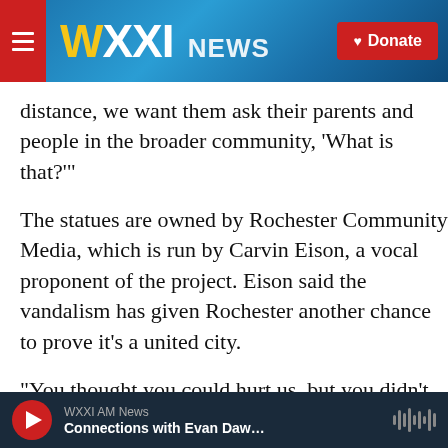[Figure (screenshot): WXXI News website header with logo, navigation menu button, and red Donate button on blue gradient background]
distance, we want them ask their parents and people in the broader community, ‘What is that?’”
The statues are owned by Rochester Community Media, which is run by Carvin Eison, a vocal proponent of the project. Eison said the vandalism has given Rochester another chance to prove it’s a united city.
“You thought you could hurt us, but you didn’t. In fact, you did just the opposite,” Eison said. “By doing what you did, you gave us another opportunity to come together and lift up the legacy of Douglass.”
WXXI AM News — Connections with Evan Daw...